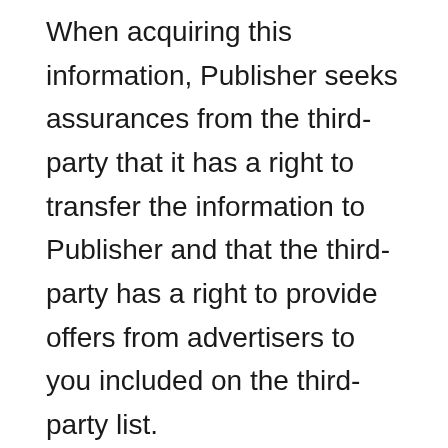When acquiring this information, Publisher seeks assurances from the third-party that it has a right to transfer the information to Publisher and that the third-party has a right to provide offers from advertisers to you included on the third-party list.
1.4. Cookies, Web Beacons, and Other Info Collected Using Technology:
Publisher currently uses cookie and web beacon technology to associate certain Internet-related information about you with information about you in its database. Additionally, Publisher may use other new and evolving sources of information in the future...